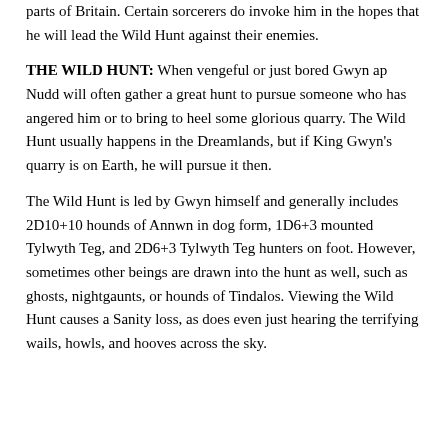parts of Britain. Certain sorcerers do invoke him in the hopes that he will lead the Wild Hunt against their enemies.
THE WILD HUNT: When vengeful or just bored Gwyn ap Nudd will often gather a great hunt to pursue someone who has angered him or to bring to heel some glorious quarry. The Wild Hunt usually happens in the Dreamlands, but if King Gwyn's quarry is on Earth, he will pursue it then.
The Wild Hunt is led by Gwyn himself and generally includes 2D10+10 hounds of Annwn in dog form, 1D6+3 mounted Tylwyth Teg, and 2D6+3 Tylwyth Teg hunters on foot. However, sometimes other beings are drawn into the hunt as well, such as ghosts, nightgaunts, or hounds of Tindalos. Viewing the Wild Hunt causes a Sanity loss, as does even just hearing the terrifying wails, howls, and hooves across the sky.